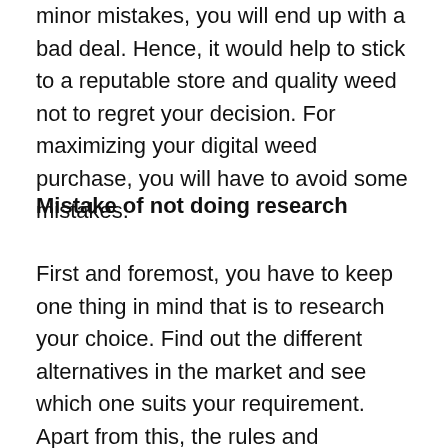minor mistakes, you will end up with a bad deal. Hence, it would help to stick to a reputable store and quality weed not to regret your decision. For maximizing your digital weed purchase, you will have to avoid some mistakes.
Mistake of not doing research
First and foremost, you have to keep one thing in mind that is to research your choice. Find out the different alternatives in the market and see which one suits your requirement. Apart from this, the rules and regulations regulating weed in the market differ from one state to the other. As a responsible individual, it is your job to go through these legal regulations. Understand the permit order and all related legal works. After establishing these junctures, you must determine your source. Try to research everything about the weed, from its quality to the place of origin and its effect.